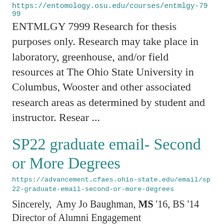https://entomology.osu.edu/courses/entmlgy-7999
ENTMLGY 7999 Research for thesis purposes only. Research may take place in laboratory, greenhouse, and/or field resources at The Ohio State University in Columbus, Wooster and other associated research areas as determined by student and instructor. Resear ...
SP22 graduate email- Second or More Degrees
https://advancement.cfaes.ohio-state.edu/email/sp22-graduate-email-second-or-more-degrees
Sincerely,  Amy Jo Baughman, MS '16, BS '14 Director of Alumni Engagement